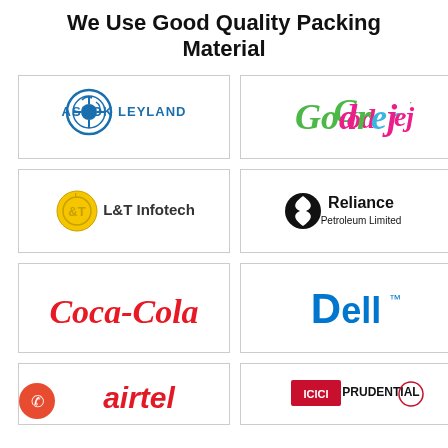We Use Good Quality Packing Material
[Figure (logo): Ashok Leyland logo - blue circular emblem with ASHOK LEYLAND text]
[Figure (logo): Godrej logo - colorful script in green, pink, blue]
[Figure (logo): L&T Infotech logo - yellow/gold circular emblem with L&T Infotech text]
[Figure (logo): Reliance Petroleum Limited logo - black circle emblem with text]
[Figure (logo): Coca-Cola logo - red cursive script]
[Figure (logo): Dell logo - blue DELL text with circle in o]
[Figure (logo): Airtel logo with WhatsApp icon overlay]
[Figure (logo): ICICI Prudential logo]